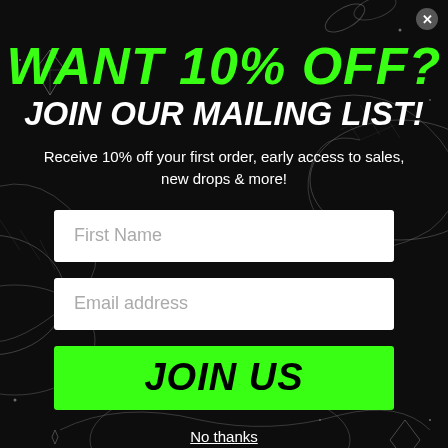WANT 10% OFF?
JOIN OUR MAILING LIST!
Receive 10% off your first order, early access to sales, new drops & more!
[Figure (other): First Name input field (white rectangle with placeholder text)]
[Figure (other): Email address input field (white rectangle with placeholder text)]
[Figure (other): JOIN US green button]
No thanks